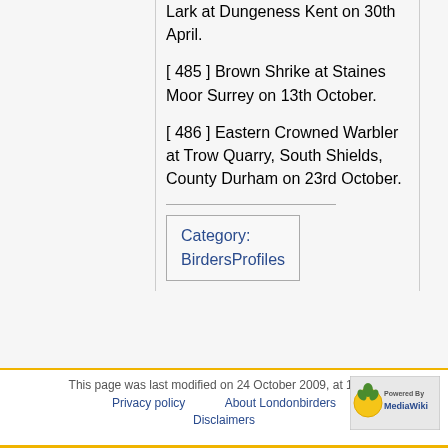Lark at Dungeness Kent on 30th April.
[ 485 ] Brown Shrike at Staines Moor Surrey on 13th October.
[ 486 ] Eastern Crowned Warbler at Trow Quarry, South Shields, County Durham on 23rd October.
Category: BirdersProfiles
This page was last modified on 24 October 2009, at 10:31. Privacy policy  About Londonbirders  Disclaimers